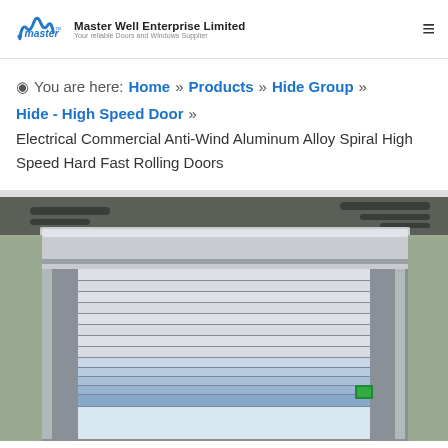Master Well Enterprise Limited — Your reliable Doors and Windows Supplier
You are here: Home » Products » Hide Group » Hide - High Speed Door » Electrical Commercial Anti-Wind Aluminum Alloy Spiral High Speed Hard Fast Rolling Doors
[Figure (photo): Photo of an aluminum alloy spiral high speed hard fast rolling door installed in a commercial/industrial building. The door has horizontal silver/white slats with dark separators, mounted in a gray aluminum frame. A roller mechanism is visible at the top. The surrounding walls are painted green/grey and there are pipes and ceiling structures visible.]